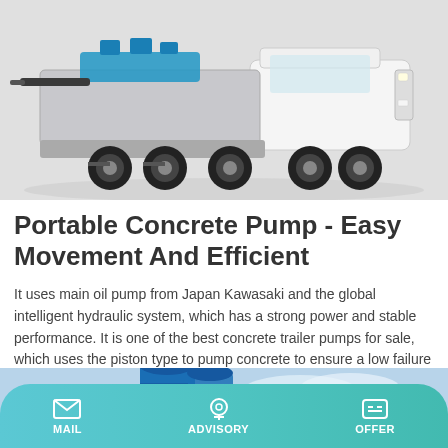[Figure (photo): Concrete pump truck (portable/trailer mounted) on a light grey background, showing the vehicle from a front-low angle with blue hydraulic components visible.]
Portable Concrete Pump - Easy Movement And Efficient
It uses main oil pump from Japan Kawasaki and the global intelligent hydraulic system, which has a strong power and stable performance. It is one of the best concrete trailer pumps for sale, which uses the piston type to pump concrete to ensure a low failure rate and good product quality.
Learn More
[Figure (photo): Partial bottom image showing a blue industrial silo or tank structure against a blue sky with clouds.]